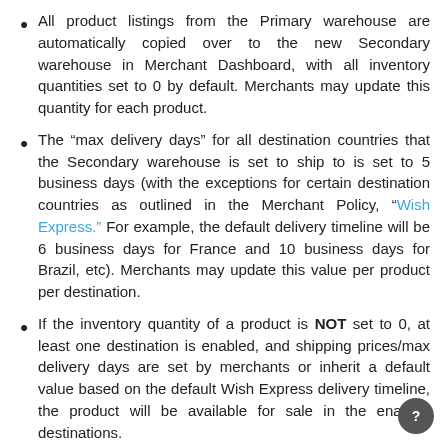All product listings from the Primary warehouse are automatically copied over to the new Secondary warehouse in Merchant Dashboard, with all inventory quantities set to 0 by default. Merchants may update this quantity for each product.
The “max delivery days” for all destination countries that the Secondary warehouse is set to ship to is set to 5 business days (with the exceptions for certain destination countries as outlined in the Merchant Policy, "Wish Express." For example, the default delivery timeline will be 6 business days for France and 10 business days for Brazil, etc). Merchants may update this value per product per destination.
If the inventory quantity of a product is NOT set to 0, at least one destination is enabled, and shipping prices/max delivery days are set by merchants or inherit a default value based on the default Wish Express delivery timeline, the product will be available for sale in the enabled destinations.